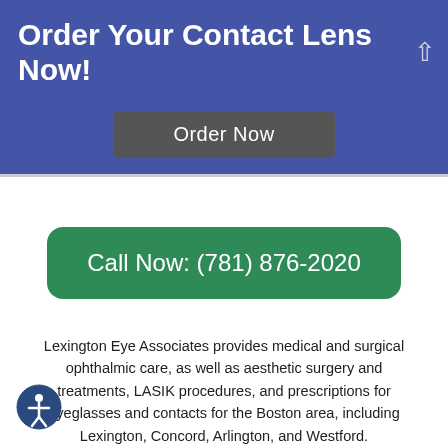Order Your Contact Lens Now!
Order Now
Call Now: (781) 876-2020
Lexington Eye Associates provides medical and surgical ophthalmic care, as well as aesthetic surgery and treatments, LASIK procedures, and prescriptions for eyeglasses and contacts for the Boston area, including Lexington, Concord, Arlington, and Westford.
If you are using a screen reader and are having problems using this website, please call (781) 876-2020